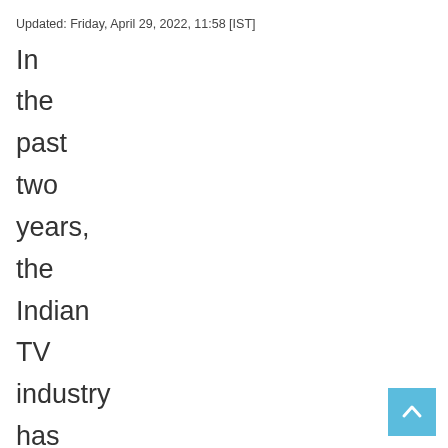Updated: Friday, April 29, 2022, 11:58 [IST]
In the past two years, the Indian TV industry has witnessed major ups and downs. Due